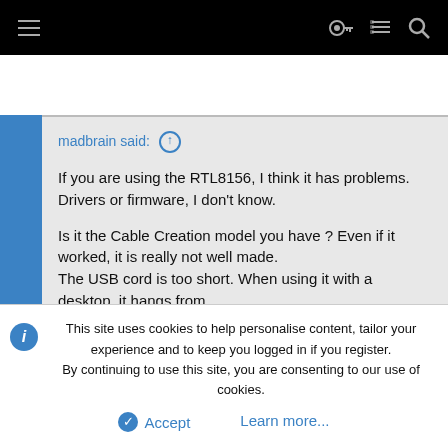Navigation bar with hamburger menu and icons
madbrain said: ↑

If you are using the RTL8156, I think it has problems. Drivers or firmware, I don't know.

Is it the Cable Creation model you have ? Even if it worked, it is really not well made.
The USB cord is too short. When using it with a desktop, it hangs from the USB 3 ports and loses the USB connection under the weight of the
This site uses cookies to help personalise content, tailor your experience and to keep you logged in if you register.
By continuing to use this site, you are consenting to our use of cookies.

Accept    Learn more...